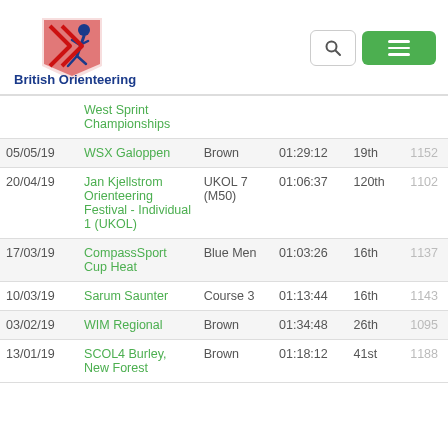[Figure (logo): British Orienteering logo with running figure and chevron, blue text reads British Orienteering]
| Date | Event | Course | Time | Pos | Pts |
| --- | --- | --- | --- | --- | --- |
|  | West Sprint Championships |  |  |  |  |
| 05/05/19 | WSX Galoppen | Brown | 01:29:12 | 19th | 1152 |
| 20/04/19 | Jan Kjellstrom Orienteering Festival - Individual 1 (UKOL) | UKOL 7 (M50) | 01:06:37 | 120th | 1102 |
| 17/03/19 | CompassSport Cup Heat | Blue Men | 01:03:26 | 16th | 1137 |
| 10/03/19 | Sarum Saunter | Course 3 | 01:13:44 | 16th | 1143 |
| 03/02/19 | WIM Regional | Brown | 01:34:48 | 26th | 1095 |
| 13/01/19 | SCOL4 Burley, New Forest | Brown | 01:18:12 | 41st | 1188 |